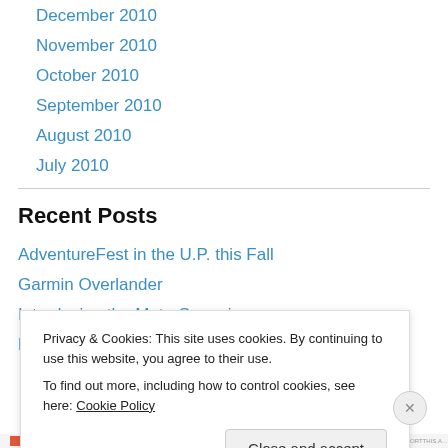December 2010
November 2010
October 2010
September 2010
August 2010
July 2010
Recent Posts
AdventureFest in the U.P. this Fall
Garmin Overlander
Introducing the Moto-Snuggie
Polaris kills Victory
Privacy & Cookies: This site uses cookies. By continuing to use this website, you agree to their use.
To find out more, including how to control cookies, see here: Cookie Policy
Close and accept